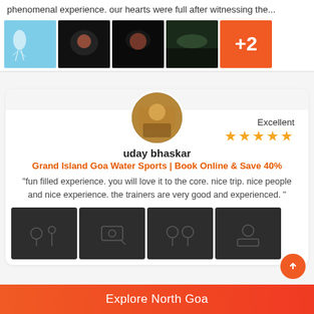phenomenal experience. our hearts were full after witnessing the...
[Figure (photo): Strip of 5 photos: underwater jellyfish (blue background), 3 dark underwater scuba diving photos, and an orange tile showing +2]
[Figure (photo): Circular avatar photo of a person outdoors]
Excellent
[Figure (other): 5 orange star rating icons]
uday bhaskar
Grand Island Goa Water Sports | Book Online & Save 40%
"fun filled experience. you will love it to the core. nice trip. nice people and nice experience. the trainers are very good and experienced. "
[Figure (photo): Row of 4 dark placeholder photo thumbnails with icon watermarks]
Explore North Goa